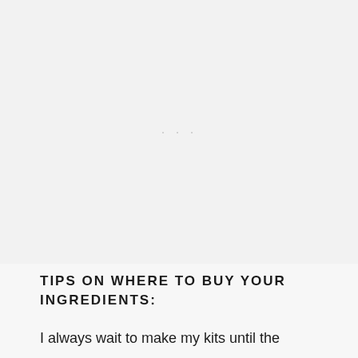[Figure (photo): Large image placeholder area with light gray background and three small dots centered, indicating an image loading or placeholder state]
TIPS ON WHERE TO BUY YOUR INGREDIENTS:
I always wait to make my kits until the